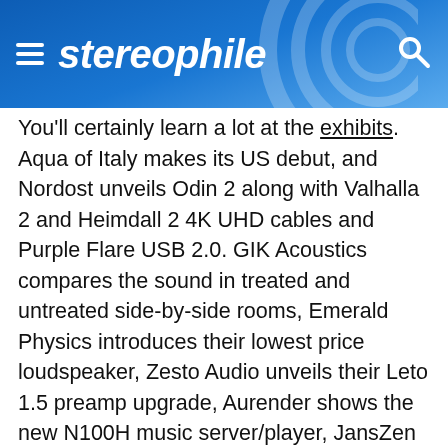stereophile
You'll certainly learn a lot at the exhibits. Aqua of Italy makes its US debut, and Nordost unveils Odin 2 along with Valhalla 2 and Heimdall 2 4K UHD cables and Purple Flare USB 2.0. GIK Acoustics compares the sound in treated and untreated side-by-side rooms, Emerald Physics introduces their lowest price loudspeaker, Zesto Audio unveils their Leto 1.5 preamp upgrade, Aurender shows the new N100H music server/player, JansZen introduces its first active electrostatic hybrid to the West Coast, Questyle shows its new digital audio players, etc. etc. etc. You can read a lot of this on the show website. But what you may not find there are premieres from AudioQuest, Audio Skies, Gamut,